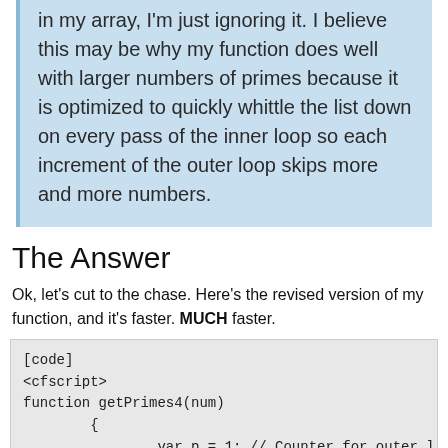in my array, I'm just ignoring it. I believe this may be why my function does well with larger numbers of primes because it is optimized to quickly whittle the list down on every pass of the inner loop so each increment of the outer loop skips more and more numbers.
The Answer
Ok, let's cut to the chase. Here's the revised version of my function, and it's faster. MUCH faster.
[code]
<cfscript>
function getPrimes4(num)
        {
                var p = 1; // Counter for outer l
                var i = 1; // Counter inner loop
                var _p = 3       ; // Stores the v
                var m = 0; // holds multiples